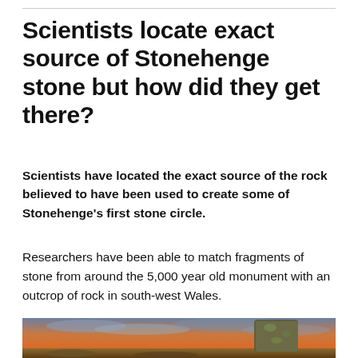Scientists locate exact source of Stonehenge stone but how did they get there?
Scientists have located the exact source of the rock believed to have been used to create some of Stonehenge's first stone circle.
Researchers have been able to match fragments of stone from around the 5,000 year old monument with an outcrop of rock in south-west Wales.
[Figure (photo): Photograph of a large moss-covered standing stone with a dramatic orange and purple sunset sky in the background, likely at Stonehenge or a related site in Wales.]